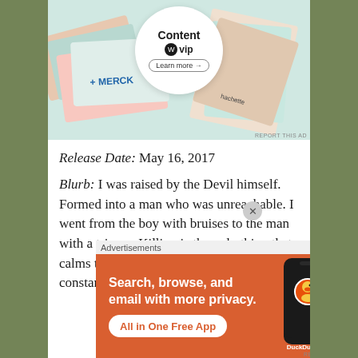[Figure (screenshot): WordPress VIP advertisement banner showing branded content logos including Merck and Hachette, with a circular WordPress VIP badge and Learn more button]
Release Date: May 16, 2017
Blurb: I was raised by the Devil himself. Formed into a man who was unreachable. I went from the boy with bruises to the man with a trigger. Killing is the only thing that calms the itch. The demons inside were a constant battle... until she changed
Advertisements
[Figure (screenshot): DuckDuckGo advertisement: Search, browse, and email with more privacy. All in One Free App. Shows phone with DuckDuckGo logo.]